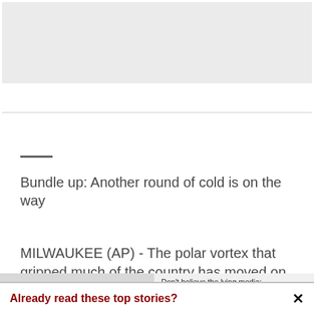[Figure (photo): Gray placeholder image area at top of page]
—
Bundle up: Another round of cold is on the way
MILWAUKEE (AP) - The polar vortex that gripped much of the country has moved on, but don't get too comfortable - another round
Already read these top stories?
Don't believe the lying media: Republicans in strong position to take House, even Senate